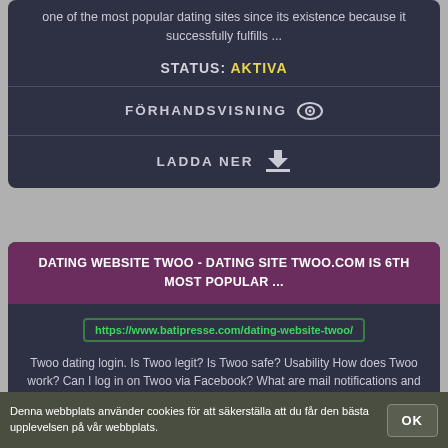one of the most popular dating sites since its existence because it successfully fulfills ...
STATUS: AKTIVA
FÖRHANDSVISNING 👁
LADDA NER ⬇
DATING WEBSITE TWOO - DATING SITE TWOO.COM IS 6TH MOST POPULAR ...
https://www.batipresse.com/dating-website-twoo/
Twoo dating login. Is Twoo legit? Is Twoo safe? Usability How does Twoo work? Can I log in on Twoo via Facebook? What are mail notifications and ...
STATUS: AKTIVA
Denna webbplats använder cookies för att säkerställa att du får den bästa upplevelsen på vår webbplats.